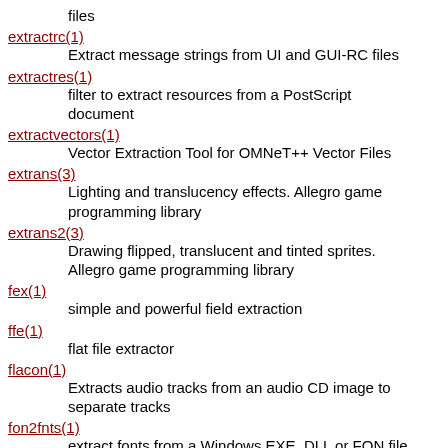files
extractrc(1)
	Extract message strings from UI and GUI-RC files
extractres(1)
	filter to extract resources from a PostScript document
extractvectors(1)
	Vector Extraction Tool for OMNeT++ Vector Files
extrans(3)
	Lighting and translucency effects. Allegro game programming library
extrans2(3)
	Drawing flipped, translucent and tinted sprites. Allegro game programming library
fex(1)
	simple and powerful field extraction
ffe(1)
	flat file extractor
flacon(1)
	Extracts audio tracks from an audio CD image to separate tracks
fon2fnts(1)
	extract fonts from a Windows EXE, DLL or FON file
fontdump(1)
	extract fonts from files